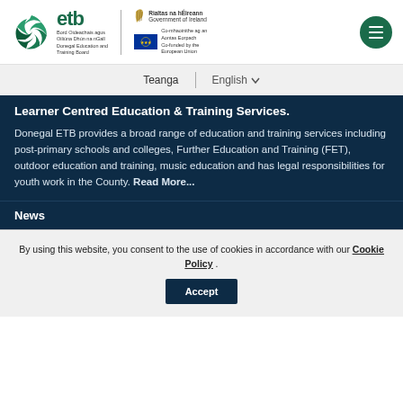[Figure (logo): Donegal ETB logo with spiral green icon, 'etb' text, Irish and English board name, Government of Ireland harp logo, EU co-funded flag block]
Teanga | English ∨
Learner Centred Education & Training Services.
Donegal ETB provides a broad range of education and training services including post-primary schools and colleges, Further Education and Training (FET), outdoor education and training, music education and has legal responsibilities for youth work in the County. Read More...
News
By using this website, you consent to the use of cookies in accordance with our Cookie Policy . Accept